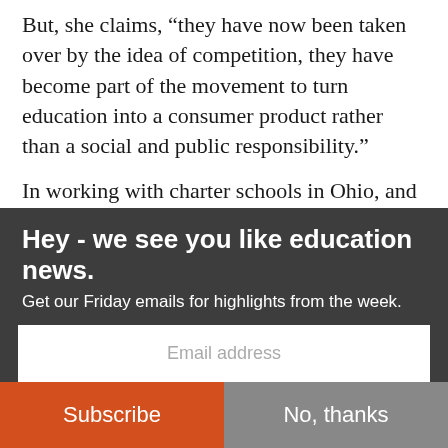But, she claims, “they have now been taken over by the idea of competition, they have become part of the movement to turn education into a consumer product rather than a social and public responsibility.”
In working with charter schools in Ohio, and now Idaho, I have met dozens of educators over the years who started their careers as teachers in district schools or as administrators in district offices. These educators turned to the charter school model only
Hey - we see you like education news.
Get our Friday emails for highlights from the week.